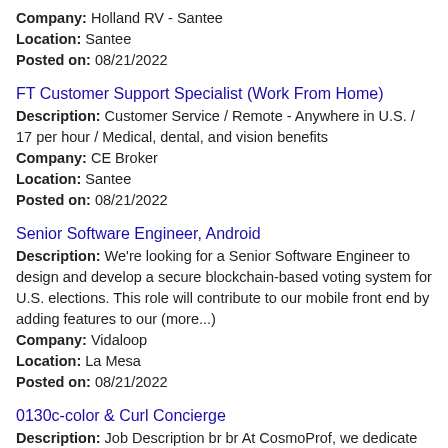Company: Holland RV - Santee
Location: Santee
Posted on: 08/21/2022
FT Customer Support Specialist (Work From Home)
Description: Customer Service / Remote - Anywhere in U.S. / 17 per hour / Medical, dental, and vision benefits
Company: CE Broker
Location: Santee
Posted on: 08/21/2022
Senior Software Engineer, Android
Description: We're looking for a Senior Software Engineer to design and develop a secure blockchain-based voting system for U.S. elections. This role will contribute to our mobile front end by adding features to our (more...)
Company: Vidaloop
Location: La Mesa
Posted on: 08/21/2022
0130c-color & Curl Concierge
Description: Job Description br br At CosmoProf, we dedicate ourselves to licensed professionals in the Beauty Industry and are committed to making salon professionals feel as though f a l...